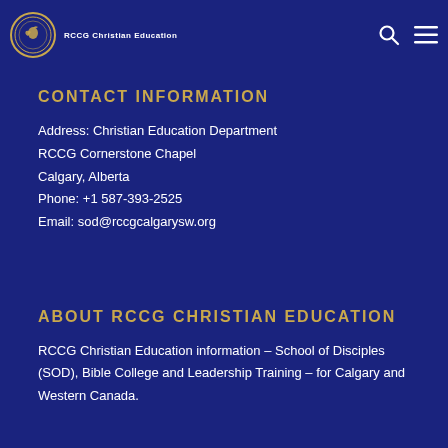RCCG Christian Education
CONTACT INFORMATION
Address: Christian Education Department
RCCG Cornerstone Chapel
Calgary, Alberta
Phone: +1 587-393-2525
Email: sod@rccgcalgarysw.org
ABOUT RCCG CHRISTIAN EDUCATION
RCCG Christian Education information – School of Disciples (SOD), Bible College and Leadership Training – for Calgary and Western Canada.